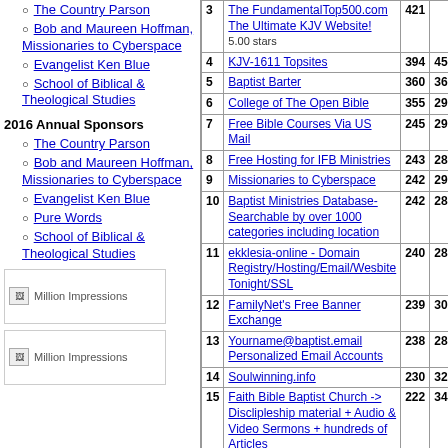The Country Parson
Bob and Maureen Hoffman, Missionaries to Cyberspace
Evangelist Ken Blue
School of Biblical & Theological Studies
2016 Annual Sponsors
The Country Parson
Bob and Maureen Hoffman, Missionaries to Cyberspace
Evangelist Ken Blue
Pure Words
School of Biblical & Theological Studies
[Figure (other): Million Impressions banner ad placeholder]
[Figure (other): Million Impressions banner ad placeholder]
| # | Site | In | Out |
| --- | --- | --- | --- |
| 3 | The FundamentalTop500.com The Ultimate KJV Website! 5.00 stars | 421 |  |
| 4 | KJV-1611 Topsites | 394 | 45 |
| 5 | Baptist Barter | 360 | 36 |
| 6 | College of The Open Bible | 355 | 29 |
| 7 | Free Bible Courses Via US Mail | 245 | 29 |
| 8 | Free Hosting for IFB Ministries | 243 | 28 |
| 9 | Missionaries to Cyberspace | 242 | 29 |
| 10 | Baptist Ministries Database-Searchable by over 1000 categories including location | 242 | 28 |
| 11 | ekklesia-online - Domain Registry/Hosting/Email/Wesbite Tonight/SSL | 240 | 28 |
| 12 | FamilyNet's Free Banner Exchange | 239 | 30 |
| 13 | Yourname@baptist.email Personalized Email Accounts | 238 | 28 |
| 14 | Soulwinning.info | 230 | 32 |
| 15 | Faith Bible Baptist Church -> Disclipleship material + Audio & Video Sermons + hundreds of Articles | 222 | 34 |
| 16 | Bible Truth | 203 | 28 |
| 17 | The Preachers Corner Org. Inc. 4.00 stars | 186 | 53 |
| 18 | The U.S.Bible Society | 109 | 19 |
| 19 | The Lion of Judah - Online Audio, Video, and News Affecting the Body of Christ | 98 | 15 |
| 20 | Free Bulletin Insert, Sunday | 78 | 88 |